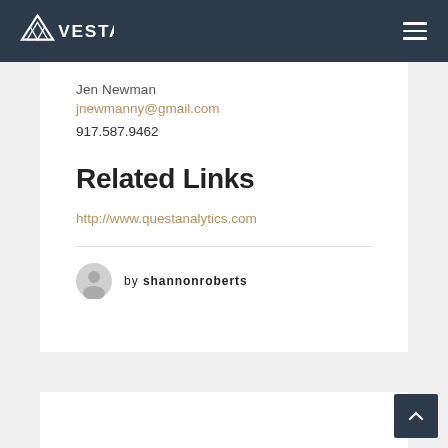VESTAR
Jen Newman
jnewmanny@gmail.com
917.587.9462
Related Links
http://www.questanalytics.com
by shannonroberts